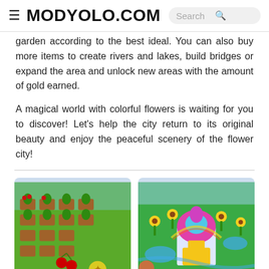MODYOLO.COM  Search
garden according to the best ideal. You can also buy more items to create rivers and lakes, build bridges or expand the area and unlock new areas with the amount of gold earned.
A magical world with colorful flowers is waiting for you to discover! Let's help the city return to its original beauty and enjoy the peaceful scenery of the flower city!
[Figure (screenshot): Game screenshot showing a farm with vegetable plots, cherry trees, cherries on ground and wheat icons on a green isometric map]
[Figure (screenshot): Game screenshot showing a fantasy flower city with a colorful palace building, sunflowers, mushrooms, and colorful buildings on a green isometric map]